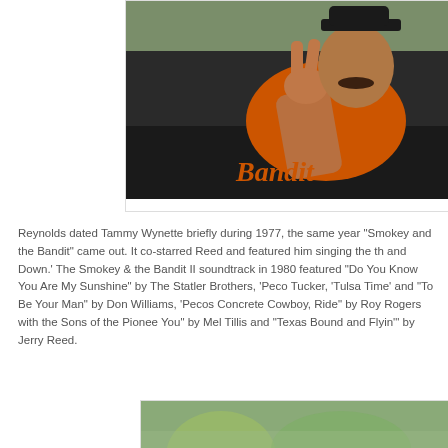[Figure (photo): A man in an orange shirt leaning out of a black car window making a peace sign. The car door reads 'Bandit' in cursive orange lettering. The man has a mustache and is wearing a dark hat.]
Reynolds dated Tammy Wynette briefly during 1977, the same year "Smokey and the Bandit" came out. It co-starred Reed and featured him singing the theme 'East Bound and Down.' The Smokey & the Bandit II soundtrack in 1980 featured songs including "Do You Know You Are My Sunshine" by The Statler Brothers, 'Pecos' by Tanya Tucker, 'Tulsa Time' and "To Be Your Man" by Don Williams, 'Pecos ... Concrete Cowboy, Ride" by Roy Rogers with the Sons of the Pioneers, 'She Believes in You" by Mel Tillis and "Texas Bound and Flyin'" by Jerry Reed.
[Figure (photo): Partial view of a second photo at the bottom of the page showing a person outdoors with trees/foliage in background.]